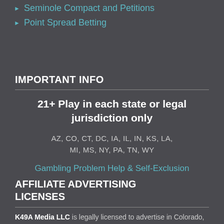Seminole Compact and Petitions
Point Spread Betting
IMPORTANT INFO
21+ Play in each state or legal jurisdiction only
AZ, CO, CT, DC, IA, IL, IN, KS, LA, MI, MS, NY, PA, TN, WY
Gambling Problem Help & Self-Exclusion
AFFILIATE ADVERTISING LICENSES
K49A Media LLC is legally licensed to advertise in Colorado,